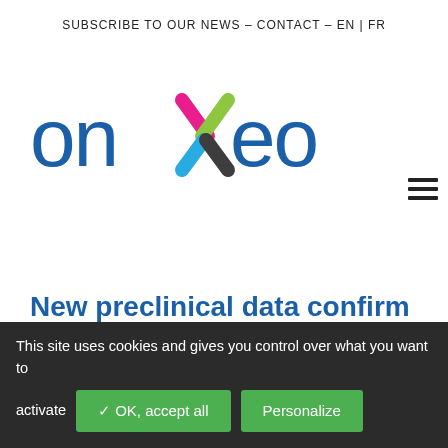SUBSCRIBE TO OUR NEWS – CONTACT – EN | FR
[Figure (logo): Onxeo company logo with colorful X graphic and blue text]
New preclinical data confirm the ability of AsiDNA™ to tackle the drug-tolerant persister cells and prevent tumor resistance in several combination treatments
This site uses cookies and gives you control over what you want to activate
✓ OK, accept all  Personalize